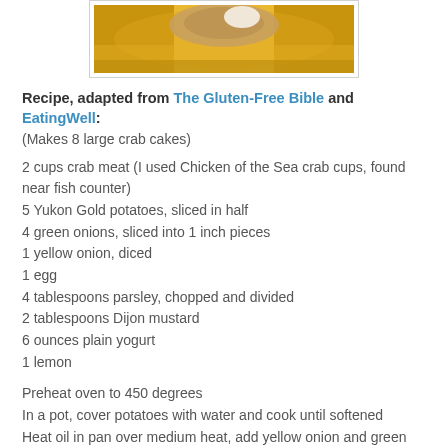[Figure (photo): A close-up photo of food on a yellow/golden plate, partially visible at top of page]
Recipe, adapted from The Gluten-Free Bible and EatingWell:
(Makes 8 large crab cakes)
2 cups crab meat (I used Chicken of the Sea crab cups, found near fish counter)
5 Yukon Gold potatoes, sliced in half
4 green onions, sliced into 1 inch pieces
1 yellow onion, diced
1 egg
4 tablespoons parsley, chopped and divided
2 tablespoons Dijon mustard
6 ounces plain yogurt
1 lemon
Preheat oven to 450 degrees
In a pot, cover potatoes with water and cook until softened
Heat oil in pan over medium heat, add yellow onion and green onion, cook until soft
Add 2 tablespoons parsley, remove from heat